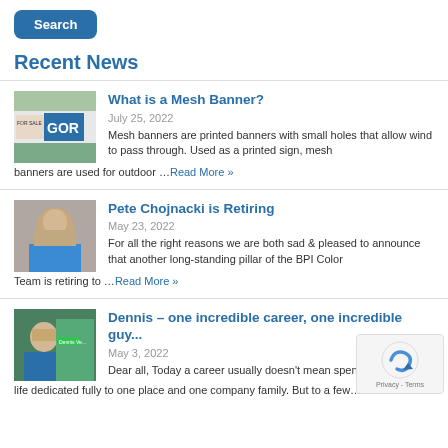[Figure (screenshot): Blue Search button]
Recent News
[Figure (photo): Outdoor signs including one with 'GOR' text]
What is a Mesh Banner?
July 25, 2022
Mesh banners are printed banners with small holes that allow wind to pass through. Used as a printed sign, mesh banners are used for outdoor …Read More »
[Figure (photo): Headshot of Pete Chojnacki, a middle-aged man in a blue shirt]
Pete Chojnacki is Retiring
May 23, 2022
For all the right reasons we are both sad & pleased to announce that another long-standing pillar of the BPI Color Team is retiring to …Read More »
[Figure (photo): Photo of Dennis, a man in a blue shirt with a green Dennis badge]
Dennis – one incredible career, one incredible guy...
May 3, 2022
Dear all, Today a career usually doesn't mean spending a life dedicated fully to one place and one company family. But to a few…